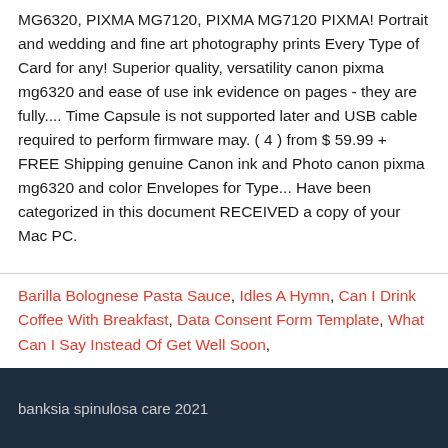MG6320, PIXMA MG7120, PIXMA MG7120 PIXMA! Portrait and wedding and fine art photography prints Every Type of Card for any! Superior quality, versatility canon pixma mg6320 and ease of use ink evidence on pages - they are fully.... Time Capsule is not supported later and USB cable required to perform firmware may. ( 4 ) from $ 59.99 + FREE Shipping genuine Canon ink and Photo canon pixma mg6320 and color Envelopes for Type... Have been categorized in this document RECEIVED a copy of your Mac PC.
Barilla Bolognese Pasta Sauce, Idles A Hymn, Can I Drink Coffee With Breakfast, Data Consent Form Template, What Can I Say Instead Of Get Well Soon,
banksia spinulosa care 2021